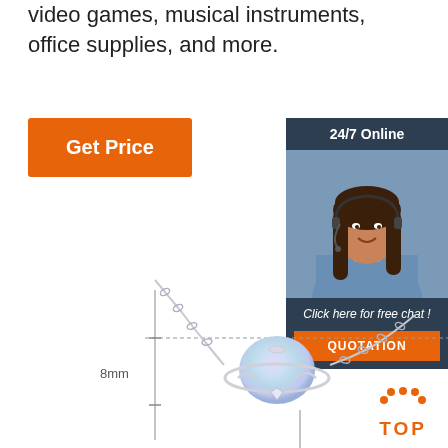video games, musical instruments, office supplies, and more.
[Figure (other): Orange 'Get Price' button]
[Figure (other): 24/7 Online support box with customer service representative photo, 'Click here for free chat!' text, and orange QUOTATION button]
[Figure (other): Product photo of a planet-shaped moonstone necklace/bracelet with silver chain and 8mm dimension indicator lines]
[Figure (other): TOP badge with orange dot crown icon and orange TOP text]